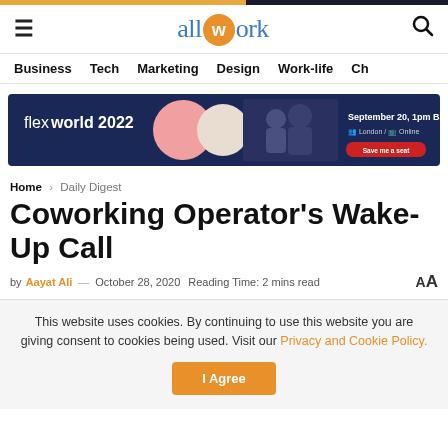allwork — site header with hamburger menu and search
Business  Tech  Marketing  Design  Work-life  Ch
[Figure (infographic): flexworld 2022 advertisement banner — dark blue background, abstract shapes, September 20, 1pm BST, London / Online, Save me a seat button]
Home > Daily Digest
Coworking Operator's Wake-Up Call
by Aayat Ali — October 28, 2020  Reading Time: 2 mins read  AA
This website uses cookies. By continuing to use this website you are giving consent to cookies being used. Visit our Privacy and Cookie Policy.
I Agree